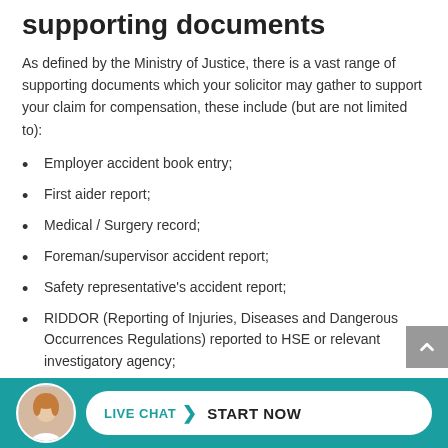supporting documents
As defined by the Ministry of Justice, there is a vast range of supporting documents which your solicitor may gather to support your claim for compensation, these include (but are not limited to):
Employer accident book entry;
First aider report;
Medical / Surgery record;
Foreman/supervisor accident report;
Safety representative's accident report;
RIDDOR (Reporting of Injuries, Diseases and Dangerous Occurrences Regulations) reported to HSE or relevant investigatory agency;
Back to work interview notes and report;
Minutes of Health and Safety Committee meeting(s)
[Figure (infographic): Footer bar with teal background, circular avatar photo of a woman, and a white rounded button with 'LIVE CHAT > START NOW' text]